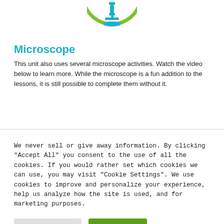[Figure (illustration): A circular icon with a green border containing a teal/blue microscope illustration on a white background, partially visible at the top of the page.]
Microscope
This unit also uses several microscope activities. Watch the video below to learn more. While the microscope is a fun addition to the lessons, it is still possible to complete them without it.
We never sell or give away information. By clicking "Accept All" you consent to the use of all the cookies. If you would rather set which cookies we can use, you may visit "Cookie Settings". We use cookies to improve and personalize your experience, help us analyze how the site is used, and for marketing purposes.